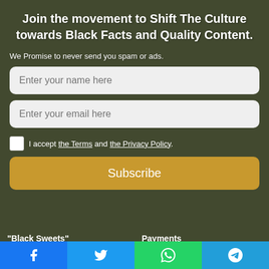Join the movement to Shift The Culture towards Black Facts and Quality Content.
We Promise to never send you spam or ads.
Enter your name here
Enter your email here
I accept the Terms and the Privacy Policy.
Subscribe
"Black Sweets"
August 25, 2021
Payments
⚡ by Convertful
Leave a Reply
[Figure (other): Social share bar with Facebook, Twitter, WhatsApp, and Telegram icons]